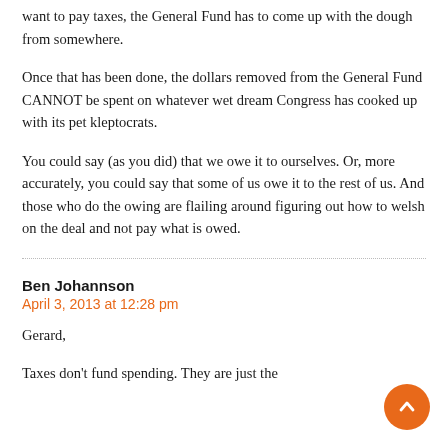credit" thingy comes in – when the trust fund needs money it cashes in those T-Bills and the money has to be taken from the General Fund. And if the General Fund is broke because our masters do not want to pay taxes, the General Fund has to come up with the dough from somewhere.
Once that has been done, the dollars removed from the General Fund CANNOT be spent on whatever wet dream Congress has cooked up with its pet kleptocrats.
You could say (as you did) that we owe it to ourselves. Or, more accurately, you could say that some of us owe it to the rest of us. And those who do the owing are flailing around figuring out how to welsh on the deal and not pay what is owed.
Ben Johannson
April 3, 2013 at 12:28 pm
Gerard,
Taxes don't fund spending. They are just the